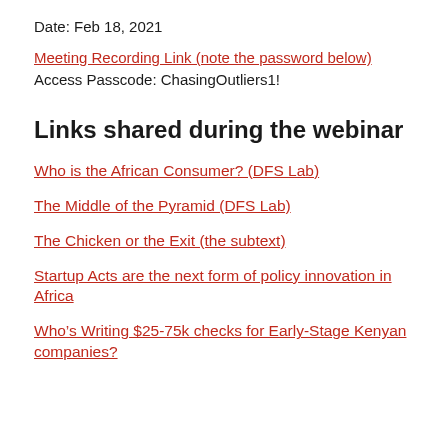Date: Feb 18, 2021
Meeting Recording Link (note the password below)
Access Passcode: ChasingOutliers1!
Links shared during the webinar
Who is the African Consumer? (DFS Lab)
The Middle of the Pyramid (DFS Lab)
The Chicken or the Exit (the subtext)
Startup Acts are the next form of policy innovation in Africa
Who’s Writing $25-75k checks for Early-Stage Kenyan companies?